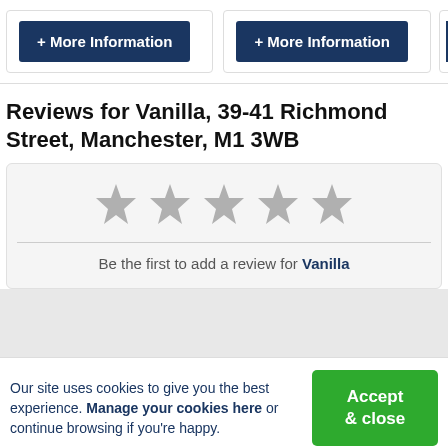[Figure (screenshot): Top row of cards each with a dark navy '+ More Information' button; third card is partially cropped]
Reviews for Vanilla, 39-41 Richmond Street, Manchester, M1 3WB
[Figure (other): Five empty grey stars rating display with text 'Be the first to add a review for Vanilla']
Our site uses cookies to give you the best experience. Manage your cookies here or continue browsing if you're happy.
Accept & close